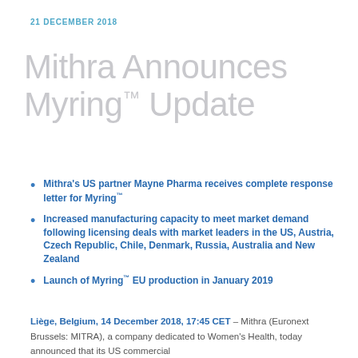21 DECEMBER 2018
Mithra Announces Myring™ Update
Mithra's US partner Mayne Pharma receives complete response letter for Myring™
Increased manufacturing capacity to meet market demand following licensing deals with market leaders in the US, Austria, Czech Republic, Chile, Denmark, Russia, Australia and New Zealand
Launch of Myring™ EU production in January 2019
Liège, Belgium, 14 December 2018, 17:45 CET – Mithra (Euronext Brussels: MITRA), a company dedicated to Women's Health, today announced that its US commercial